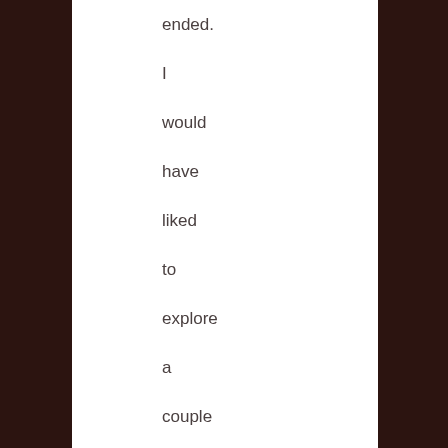ended. I would have liked to explore a couple points more in-depth, particularly how he imagines I get my work done